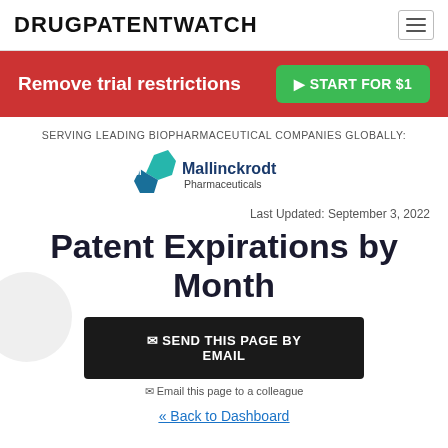DRUGPATENTWATCH
Remove trial restrictions | ▶ START FOR $1
SERVING LEADING BIOPHARMACEUTICAL COMPANIES GLOBALLY:
[Figure (logo): Mallinckrodt Pharmaceuticals logo]
Last Updated: September 3, 2022
Patent Expirations by Month
✉ SEND THIS PAGE BY EMAIL
✉ Email this page to a colleague
« Back to Dashboard